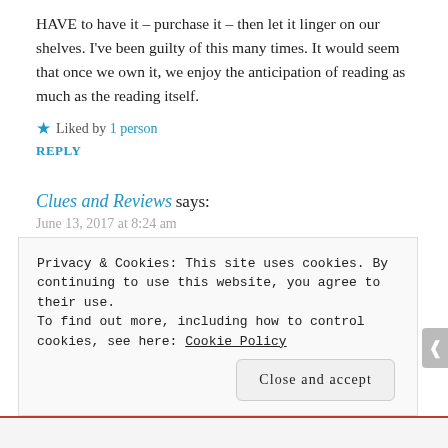HAVE to have it – purchase it – then let it linger on our shelves. I've been guilty of this many times. It would seem that once we own it, we enjoy the anticipation of reading as much as the reading itself.
★ Liked by 1 person
REPLY
Clues and Reviews says:
June 13, 2017 at 8:24 am
Isn't that awful?! I have so many books like that!
★ Like
REPLY
Privacy & Cookies: This site uses cookies. By continuing to use this website, you agree to their use.
To find out more, including how to control cookies, see here: Cookie Policy
Close and accept